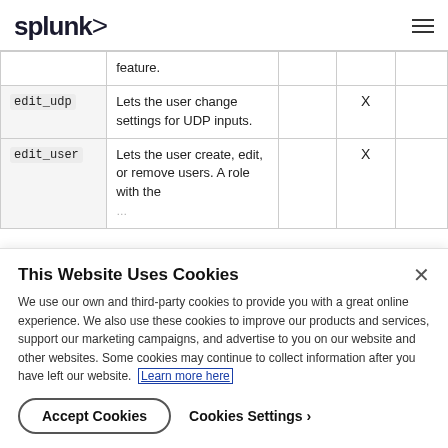splunk>
| Capability | Description |  | X |  |
| --- | --- | --- | --- | --- |
|  | feature. |  |  |  |
| edit_udp | Lets the user change settings for UDP inputs. |  | X |  |
| edit_user | Lets the user create, edit, or remove users. A role with the… |  | X |  |
This Website Uses Cookies
We use our own and third-party cookies to provide you with a great online experience. We also use these cookies to improve our products and services, support our marketing campaigns, and advertise to you on our website and other websites. Some cookies may continue to collect information after you have left our website. Learn more here
Accept Cookies
Cookies Settings ›